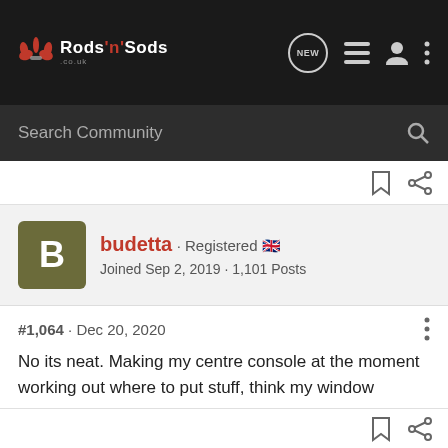Rods 'n' Sods — forum navigation header with search bar
budetta · Registered 🇬🇧
Joined Sep 2, 2019 · 1,101 Posts
#1,064 · Dec 20, 2020
No its neat. Making my centre console at the moment working out where to put stuff, think my window switches will go between seats behind hand brake.